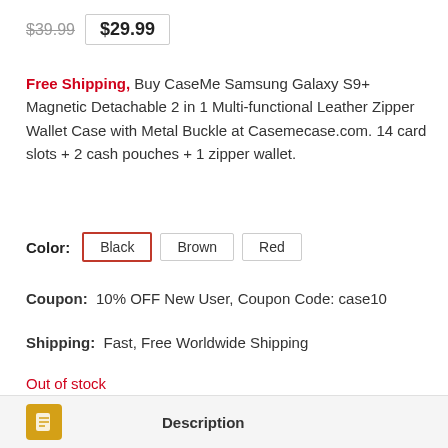$39.99  $29.99
Free Shipping, Buy CaseMe Samsung Galaxy S9+ Magnetic Detachable 2 in 1 Multi-functional Leather Zipper Wallet Case with Metal Buckle at Casemecase.com. 14 card slots + 2 cash pouches + 1 zipper wallet.
Color: Black  Brown  Red
Coupon: 10% OFF New User, Coupon Code: case10
Shipping: Fast, Free Worldwide Shipping
Out of stock
[Figure (infographic): Social media sharing icons: Facebook, Instagram, Pinterest, LinkedIn, Reddit]
Description